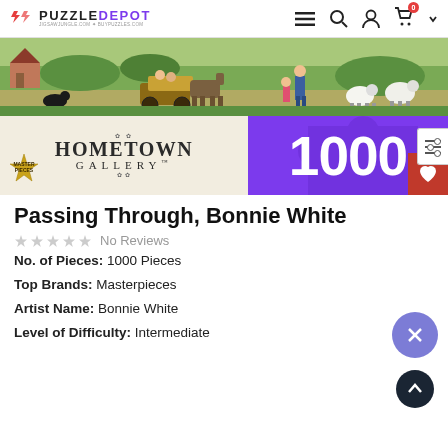PuzzleDepot
[Figure (screenshot): Puzzle product image showing Hometown Gallery 1000-piece puzzle box with a rural scene featuring a horse-drawn carriage, children, and sheep]
Passing Through, Bonnie White
No Reviews
No. of Pieces: 1000 Pieces
Top Brands: Masterpieces
Artist Name: Bonnie White
Level of Difficulty: Intermediate